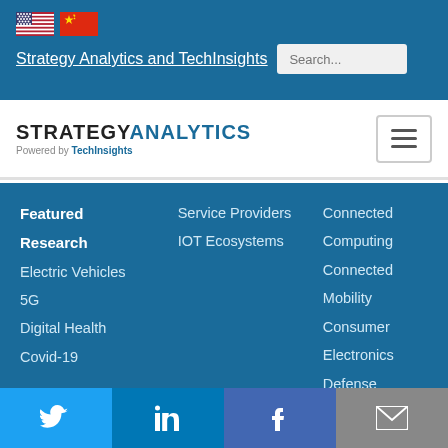[Figure (illustration): US and China flags side by side]
Strategy Analytics and TechInsights
[Figure (logo): Strategy Analytics powered by TechInsights logo with hamburger menu button]
Featured Research
Electric Vehicles
5G
Digital Health
Covid-19
Report Packages
Service Providers
IOT Ecosystems
Connected Computing
Connected Mobility
Consumer Electronics
Defense Device Technologies
Digital Health Strategies
Electric Vehicles
Twitter | LinkedIn | Facebook | Email